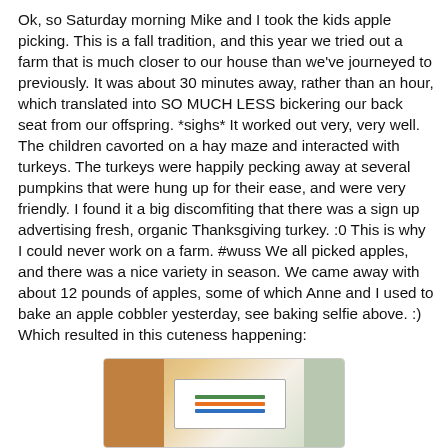Ok, so Saturday morning Mike and I took the kids apple picking. This is a fall tradition, and this year we tried out a farm that is much closer to our house than we've journeyed to previously. It was about 30 minutes away, rather than an hour, which translated into SO MUCH LESS bickering our back seat from our offspring. *sighs* It worked out very, very well. The children cavorted on a hay maze and interacted with turkeys. The turkeys were happily pecking away at several pumpkins that were hung up for their ease, and were very friendly. I found it a big discomfiting that there was a sign up advertising fresh, organic Thanksgiving turkey. :0 This is why I could never work on a farm. #wuss We all picked apples, and there was a nice variety in season. We came away with about 12 pounds of apples, some of which Anne and I used to bake an apple cobbler yesterday, see baking selfie above. :) Which resulted in this cuteness happening:
[Figure (photo): A photograph showing what appears to be a child or children near a refrigerator or kitchen appliance, partially visible at the bottom of the page.]